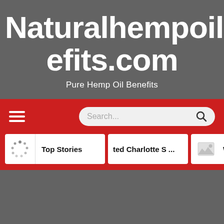Naturalhempoilbenefits.com
Pure Hemp Oil Benefits
[Figure (screenshot): Website header screenshot showing Naturalhempoilbenefits.com with navigation bar containing hamburger menu, search box, and article tabs for Top Stories, ted Charlotte S..., and Wh]
Top Stories
ted Charlotte S ...
Wh